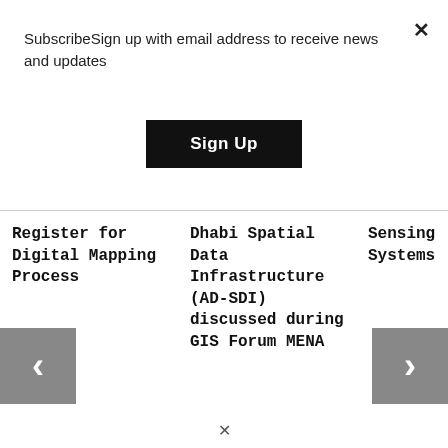SubscribeSign up with email address to receive news and updates
Sign Up
Register for Digital Mapping Process
Dhabi Spatial Data Infrastructure (AD-SDI) discussed during GIS Forum MENA
Sensing Systems